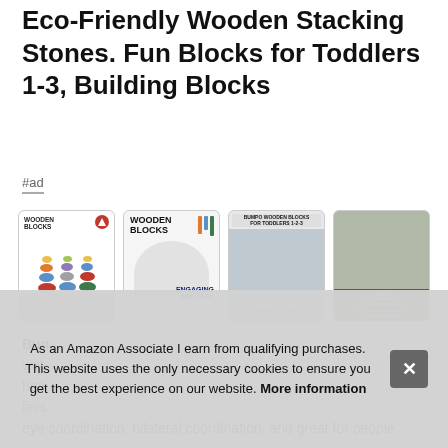Eco-Friendly Wooden Stacking Stones. Fun Blocks for Toddlers 1-3, Building Blocks
#ad
[Figure (photo): Four product images of wooden stacking blocks/stones toys in a row]
Bun… watches… beautifully… finished… eye coordination, bilateral coordination, and great for people
As an Amazon Associate I earn from qualifying purchases. This website uses the only necessary cookies to ensure you get the best experience on our website. More information